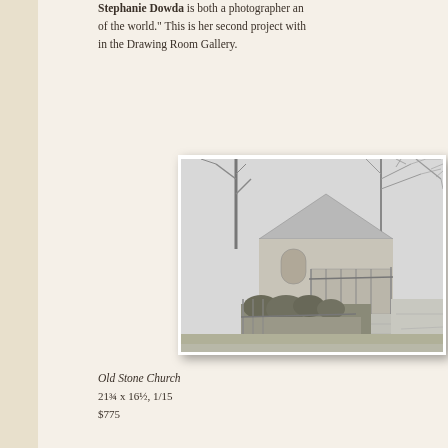Stephanie Dowda is both a photographer and ... of the world." This is her second project with ... in the Drawing Room Gallery.
[Figure (photo): Black and white photograph of Old Stone Church building with bare trees, a walkway/ramp, and surrounding landscape]
Old Stone Church
21¾ x 16½, 1/15
$775